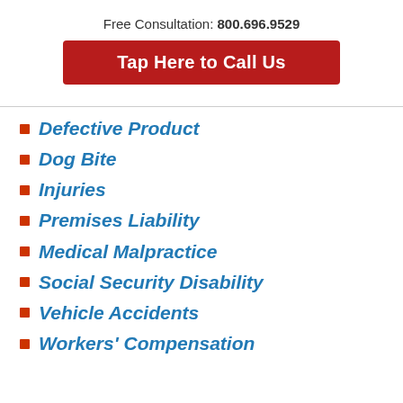Free Consultation: 800.696.9529
Tap Here to Call Us
Defective Product
Dog Bite
Injuries
Premises Liability
Medical Malpractice
Social Security Disability
Vehicle Accidents
Workers' Compensation